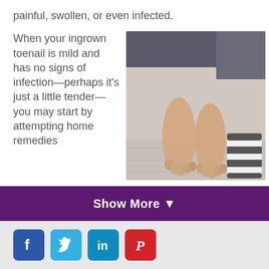painful, swollen, or even infected.
When your ingrown toenail is mild and has no signs of infection—perhaps it's just a little tender—you may start by attempting home remedies
[Figure (photo): Overhead view of bare feet on light wood floor with striped slippers nearby]
Show More ▼
[Figure (infographic): Social media icons: Facebook, Twitter, LinkedIn, Pinterest]
Home | Service Areas | About Us | Blog | FAQs | Library | News | Contact Us
Back To Top